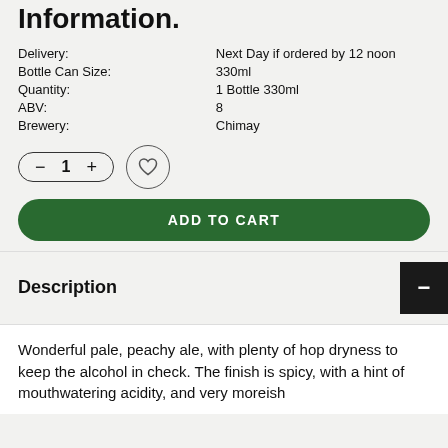Information.
| Delivery: | Next Day if ordered by 12 noon |
| Bottle Can Size: | 330ml |
| Quantity: | 1 Bottle 330ml |
| ABV: | 8 |
| Brewery: | Chimay |
[Figure (other): Quantity selector with minus and plus buttons showing 1, and a heart/wishlist button]
[Figure (other): ADD TO CART green button]
Description
Wonderful pale, peachy ale, with plenty of hop dryness to keep the alcohol in check. The finish is spicy, with a hint of mouthwatering acidity, and very moreish